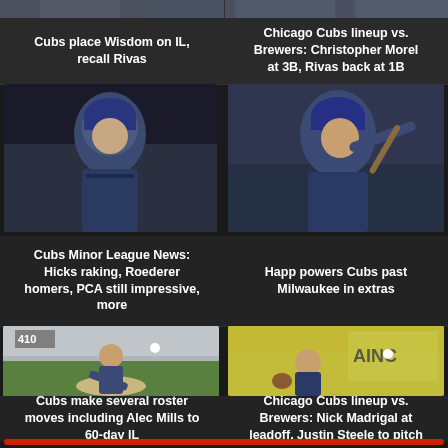[Figure (photo): Partial cropped photo top strip - left]
Cubs place Wisdom on IL, recall Rivas
[Figure (photo): Partial cropped photo top strip - right]
Chicago Cubs lineup vs. Brewers: Christopher Morel at 3B, Rivas back at 1B
[Figure (photo): Cubs baseball player in blue uniform with helmet, batting pose]
Cubs Minor League News: Hicks raking, Roederer homers, PCA still impressive, more
[Figure (photo): Cubs player swinging bat in blue uniform]
Happ powers Cubs past Milwaukee in extras
[Figure (photo): Cubs pitcher in blue uniform delivering pitch on mound]
Cubs make several roster moves including Alec Mills to 60-day IL
[Figure (photo): Cubs fielder in blue uniform throwing ball]
Chicago Cubs lineup vs. Brewers: Nick Madrigal at leadoff, Justin Steele to pitch